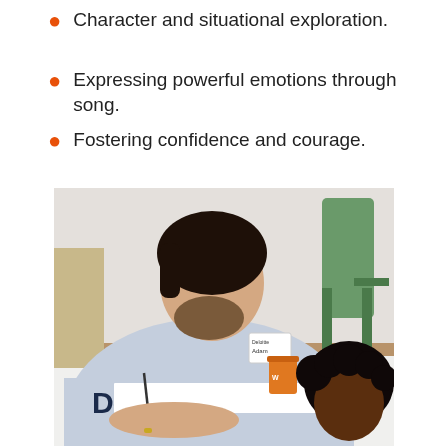Character and situational exploration.
Expressing powerful emotions through song.
Fostering confidence and courage.
[Figure (photo): A man wearing a Deloitte t-shirt and name badge leans over a white table, looking down at papers alongside a child with curly hair. An office chair is visible in the background. An orange paper cup sits on the table.]